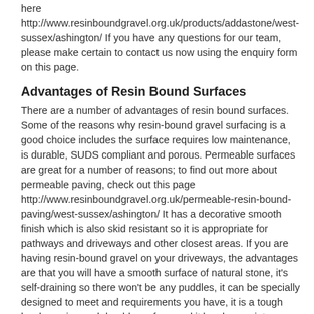here http://www.resinboundgravel.org.uk/products/addastone/west-sussex/ashington/ If you have any questions for our team, please make certain to contact us now using the enquiry form on this page.
Advantages of Resin Bound Surfaces
There are a number of advantages of resin bound surfaces. Some of the reasons why resin-bound gravel surfacing is a good choice includes the surface requires low maintenance, is durable, SUDS compliant and porous. Permeable surfaces are great for a number of reasons; to find out more about permeable paving, check out this page http://www.resinboundgravel.org.uk/permeable-resin-bound-paving/west-sussex/ashington/ It has a decorative smooth finish which is also skid resistant so it is appropriate for pathways and driveways and other closest areas. If you are having resin-bound gravel on your driveways, the advantages are that you will have a smooth surface of natural stone, it's self-draining so there won't be any puddles, it can be specially designed to meet and requirements you have, it is a tough hard wearing and durable surface and it has low maintenance needed to keep looking new.
What is Resin Bound Surfacing?